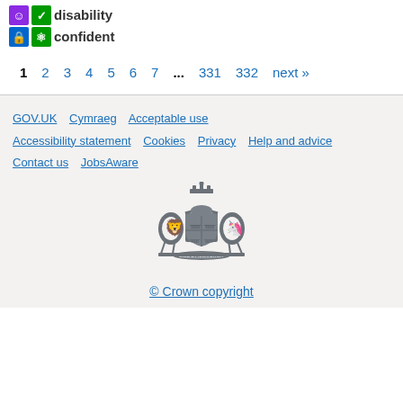[Figure (logo): Disability Confident logo with coloured icon boxes and text]
1  2  3  4  5  6  7  ...  331  332  next »
GOV.UK   Cymraeg   Acceptable use   Accessibility statement   Cookies   Privacy   Help and advice   Contact us   JobsAware
[Figure (logo): Royal coat of arms of the United Kingdom in grey]
© Crown copyright